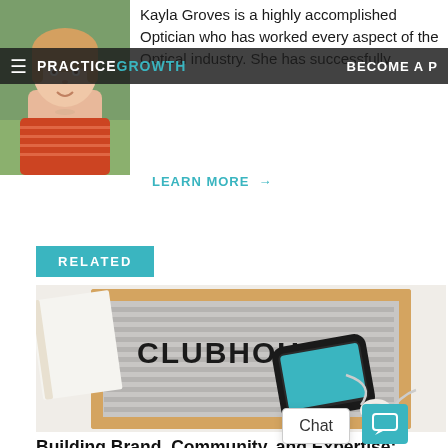[Figure (photo): Headshot photo of Kayla Groves, a woman with blonde hair wearing an orange striped shirt, outdoors with green foliage background]
Kayla Groves is a highly accomplished Optician who has worked every aspect of the Optical industry. She has successfully...
LEARN MORE →
PRACTICE GROWTH  BECOME A P
RELATED
[Figure (photo): Letter board with the word CLUBHOUSE in black letters, with a smartphone showing the Clubhouse app screen, and white earbuds, on a light background]
Building Brand, Community, and Expertise: Using Clubhouse to Advance Your Practice